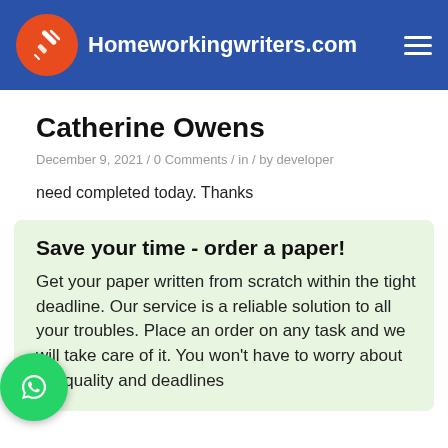Homeworkingwriters.com
Catherine Owens
December 9, 2021 / 0 Comments / in / by developer
need completed today. Thanks
Save your time - order a paper!
Get your paper written from scratch within the tight deadline. Our service is a reliable solution to all your troubles. Place an order on any task and we will take care of it. You won't have to worry about the quality and deadlines